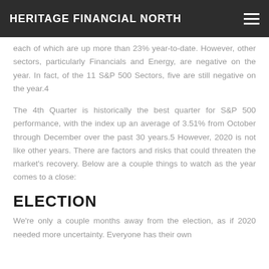HERITAGE FINANCIAL NORTH
each of which are up more than 23% year-to-date. However, other sectors, particularly Financials and Energy, are negative on the year. In fact, of the 11 S&P 500 Sectors, five are still negative on the year.4
The 4th Quarter is historically the best quarter for S&P 500 performance, with the index up an average of 3.51% from October through December over the past 30 years.5 However, 2020 is not like other years. There are factors and risks that could threaten the market’s recovery. Below are a couple things to watch as the year comes to a close:
ELECTION
We’re only a couple months away from the election, as if 2020 needed more uncertainty. Everyone has their own